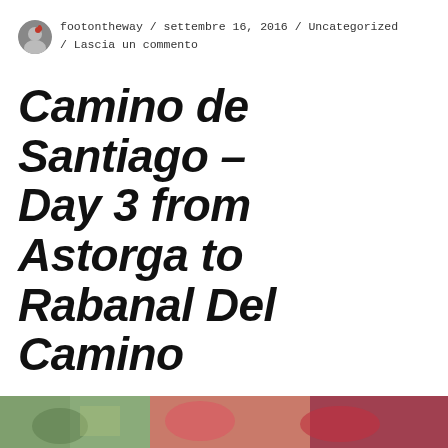footontheway / settembre 16, 2016 / Uncategorized / Lascia un commento
Camino de Santiago – Day 3 from Astorga to Rabanal Del Camino
Privacy e cookie: Questo sito utilizza cookie. Continuando a utilizzare questo sito web, si accetta l'utilizzo dei cookie.
Per ulteriori informazioni, anche sul controllo dei cookie, leggi qui: Informativa sui cookie
Chiudi e accetta
[Figure (photo): Partial photo strip at bottom of page showing colorful flowers/scenery]